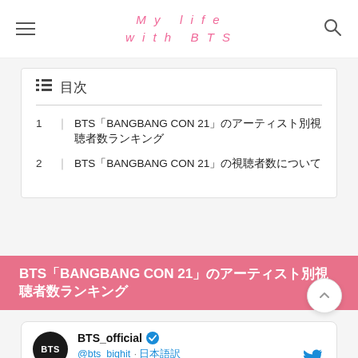My life with BTS
1 | BTS「BANGBANG CON 21」のアーティスト別視聴者数ランキング
2 | BTS「BANGBANG CON 21」の視聴者数について
BTS「BANGBANG CON 21」のアーティスト別視聴者数ランキング
BTS_official @bts_bighit · 日本語